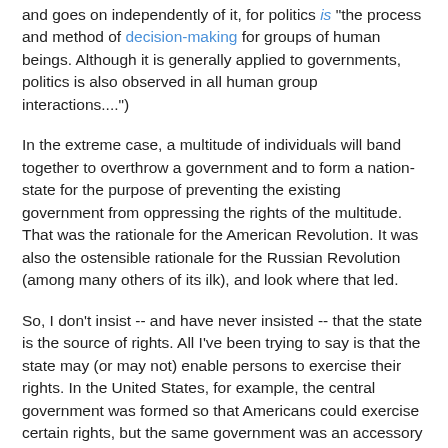and goes on independently of it, for politics is "the process and method of decision-making for groups of human beings. Although it is generally applied to governments, politics is also observed in all human group interactions....")
In the extreme case, a multitude of individuals will band together to overthrow a government and to form a nation-state for the purpose of preventing the existing government from oppressing the rights of the multitude. That was the rationale for the American Revolution. It was also the ostensible rationale for the Russian Revolution (among many others of its ilk), and look where that led.
So, I don't insist -- and have never insisted -- that the state is the source of rights. All I've been trying to say is that the state may (or may not) enable persons to exercise their rights. In the United States, for example, the central government was formed so that Americans could exercise certain rights, but the same government was an accessory to the practice of slavery, for almost 80 years following the end of the Revolutionary War. Then, with Lincoln's accession to the presidency, the central government not only opposed